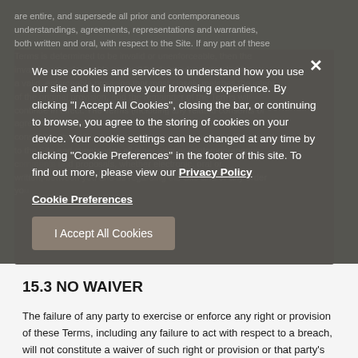are entire, and supersede all prior and contemporaneous understandings, agreements, representations and warranties, both written and oral, with respect to the Site. If any part of these Terms is determined to be invalid or unenforceable, then the invalid or unenforceable part will be deemed superseded by a valid, enforceable provision that most closely matches the intent of the original provision, and the remainder of the Terms will continue in effect. The Terms (including any related consents or agreements that you provide during your visit to the Site) constitutes the entire agreement between you and us with respect to the Site and supersedes all other prior or contemporaneous comments and proposals, whether electronic, oral or written, between you and us regarding the Site and/or any order you
We use cookies and services to understand how you use our site and to improve your browsing experience. By clicking "I Accept All Cookies", closing the bar, or continuing to browse, you agree to the storing of cookies on your device. Your cookie settings can be changed at any time by clicking "Cookie Preferences" in the footer of this site. To find out more, please view our Privacy Policy
Cookie Preferences
I Accept All Cookies
15.3 NO WAIVER
The failure of any party to exercise or enforce any right or provision of these Terms, including any failure to act with respect to a breach, will not constitute a waiver of such right or provision or that party's right to act with respect to subsequent or similar breaches. We suggest that you print out a copy of these Terms for